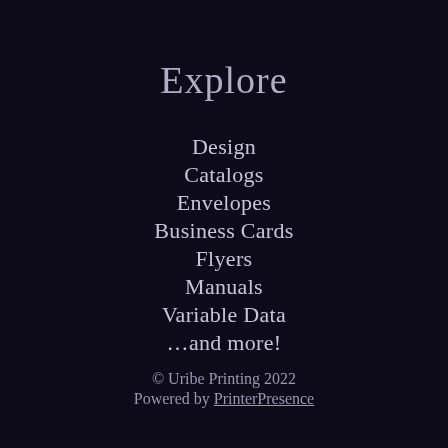Explore
Design
Catalogs
Envelopes
Business Cards
Flyers
Manuals
Variable Data
…and more!
© Uribe Printing 2022
Powered by PrinterPresence